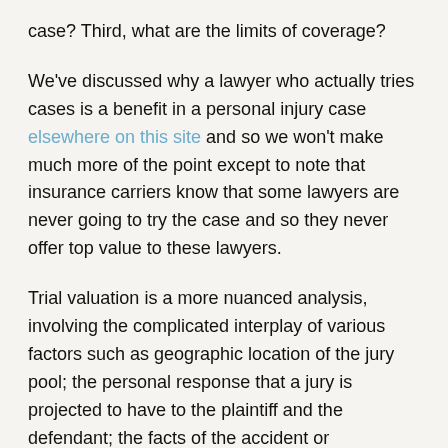case? Third, what are the limits of coverage?
We've discussed why a lawyer who actually tries cases is a benefit in a personal injury case elsewhere on this site and so we won't make much more of the point except to note that insurance carriers know that some lawyers are never going to try the case and so they never offer top value to these lawyers.
Trial valuation is a more nuanced analysis, involving the complicated interplay of various factors such as geographic location of the jury pool; the personal response that a jury is projected to have to the plaintiff and the defendant; the facts of the accident or negligence at issue; the existence of preexisting conditions; and the nature of the injury. However, most critical to jury valuation is the ability to demonstrate to the jury how money damages will help to